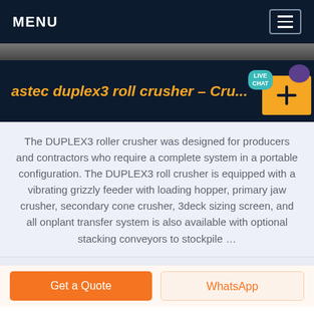MENU
[Figure (screenshot): Partial image of a crusher machine at the top of the page]
astec duplex3 roll crusher – Cru...
The DUPLEX3 roller crusher was designed for producers and contractors who require a complete system in a portable configuration. The DUPLEX3 roll crusher is equipped with a vibrating grizzly feeder with loading hopper, primary jaw crusher, secondary cone crusher, 3deck sizing screen, and all onplant transfer system is also available with optional stacking conveyors to stockpile …
Get a Quote
WhatsApp